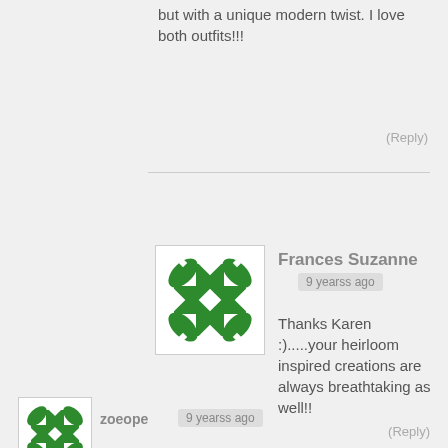but with a unique modern twist. I love both outfits!!!
(Reply)
[Figure (illustration): Green and white geometric/floral avatar icon for Frances Suzanne]
Frances Suzanne
9 yearss ago
Thanks Karen :).....your heirloom inspired creations are always breathtaking as well!!
(Reply)
[Figure (illustration): Green and white geometric/floral avatar icon for zoeope]
zoeope
9 yearss ago